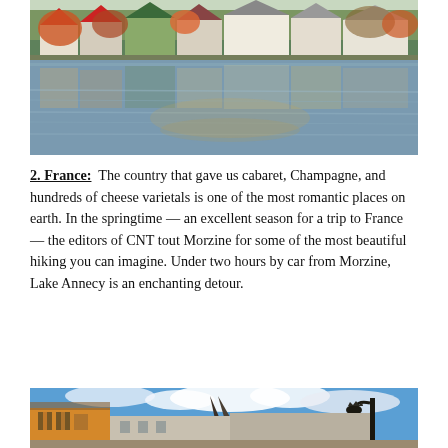[Figure (photo): Colorful lakeside houses with autumn foliage reflected in calm water]
2. France: The country that gave us cabaret, Champagne, and hundreds of cheese varietals is one of the most romantic places on earth. In the springtime — an excellent season for a trip to France — the editors of CNT tout Morzine for some of the most beautiful hiking you can imagine. Under two hours by car from Morzine, Lake Annecy is an enchanting detour.
[Figure (photo): Colorful European street buildings with blue sky and clouds, likely Annecy, France]